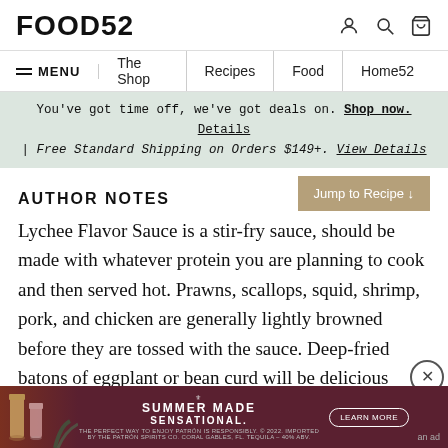FOOD52
MENU | The Shop | Recipes | Food | Home52
You've got time off, we've got deals on. Shop now. Details | Free Standard Shipping on Orders $149+. View Details
AUTHOR NOTES
Jump to Recipe ↓
Lychee Flavor Sauce is a stir-fry sauce, should be made with whatever protein you are planning to cook and then served hot. Prawns, scallops, squid, shrimp, pork, and chicken are generally lightly browned before they are tossed with the sauce. Deep-fried batons of eggplant or bean curd will be delicious here, as well, and simply need to be heated through with the sauce for a minute or two. Read about the
[Figure (screenshot): Advertisement banner for Patron tequila: SUMMER MADE SENSATIONAL with a LEARN MORE button, drinks imagery on left, and fine print at bottom]